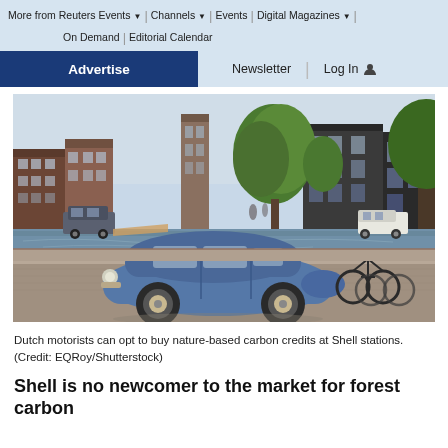More from Reuters Events ▾ | Channels ▾ | Events | Digital Magazines ▾ | On Demand | Editorial Calendar
Advertise | Newsletter | Log In
[Figure (photo): A blue vintage Citroën 2CV parked on a canal-side street in Amsterdam. Historic Dutch canal houses and green trees visible in the background. Bicycles parked nearby.]
Dutch motorists can opt to buy nature-based carbon credits at Shell stations. (Credit: EQRoy/Shutterstock)
Shell is no newcomer to the market for forest carbon